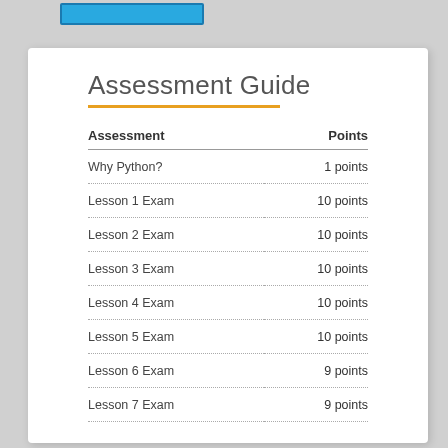Assessment Guide
| Assessment | Points |
| --- | --- |
| Why Python? | 1 points |
| Lesson 1 Exam | 10 points |
| Lesson 2 Exam | 10 points |
| Lesson 3 Exam | 10 points |
| Lesson 4 Exam | 10 points |
| Lesson 5 Exam | 10 points |
| Lesson 6 Exam | 9 points |
| Lesson 7 Exam | 9 points |